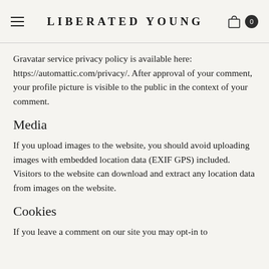LIBERATED YOUNG
Gravatar service privacy policy is available here: https://automattic.com/privacy/. After approval of your comment, your profile picture is visible to the public in the context of your comment.
Media
If you upload images to the website, you should avoid uploading images with embedded location data (EXIF GPS) included. Visitors to the website can download and extract any location data from images on the website.
Cookies
If you leave a comment on our site you may opt-in to